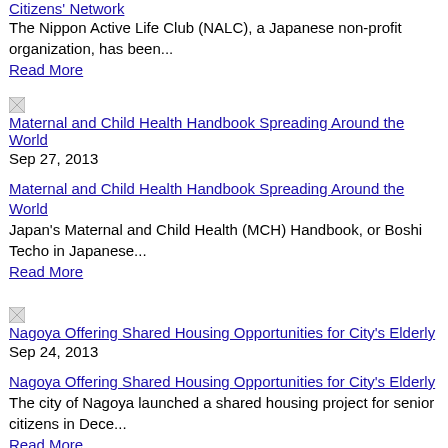Citizens' Network
The Nippon Active Life Club (NALC), a Japanese non-profit organization, has been...
Read More
[Figure (illustration): Thumbnail image link for Maternal and Child Health Handbook Spreading Around the World]
Sep 27, 2013
Maternal and Child Health Handbook Spreading Around the World
Japan's Maternal and Child Health (MCH) Handbook, or Boshi Techo in Japanese...
Read More
[Figure (illustration): Thumbnail image link for Nagoya Offering Shared Housing Opportunities for City's Elderly]
Sep 24, 2013
Nagoya Offering Shared Housing Opportunities for City's Elderly
The city of Nagoya launched a shared housing project for senior citizens in Dece...
Read More